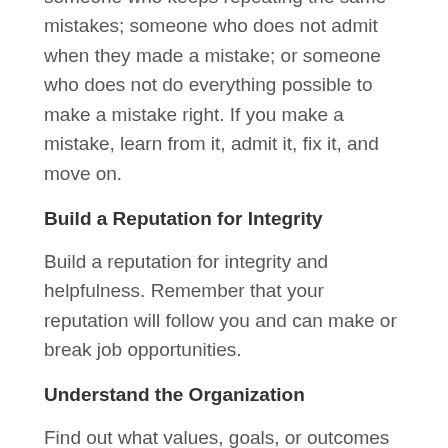someone who keeps repeating the same mistakes; someone who does not admit when they made a mistake; or someone who does not do everything possible to make a mistake right. If you make a mistake, learn from it, admit it, fix it, and move on.
Build a Reputation for Integrity
Build a reputation for integrity and helpfulness. Remember that your reputation will follow you and can make or break job opportunities.
Understand the Organization
Find out what values, goals, or outcomes are important for success.  Create the link between your success and the organization's success as a whole by measuring what you have accomplished, then